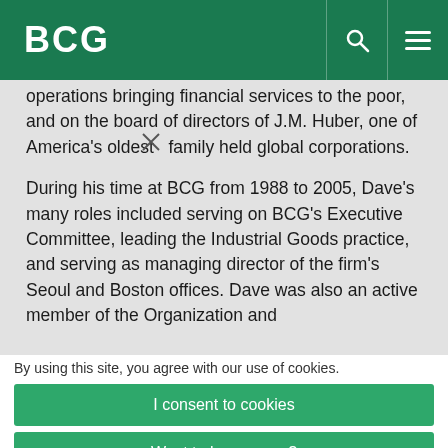BCG
operations bringing financial services to the poor, and on the board of directors of J.M. Huber, one of America's oldest family held global corporations.
During his time at BCG from 1988 to 2005, Dave's many roles included serving on BCG's Executive Committee, leading the Industrial Goods practice, and serving as managing director of the firm's Seoul and Boston offices. Dave was also an active member of the Organization and
By using this site, you agree with our use of cookies.
I consent to cookies
Want to know more?
Read our Cookie Policy